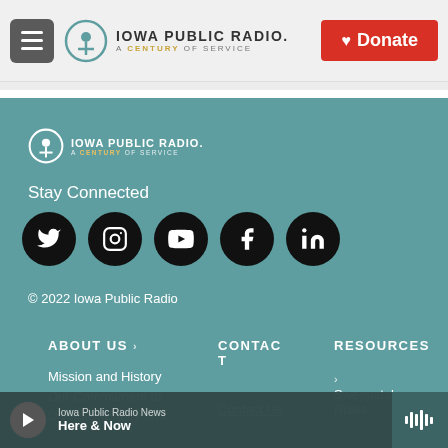[Figure (logo): Iowa Public Radio logo with tagline 'A Century of Service' in header]
Donate
[Figure (logo): Iowa Public Radio footer logo white version]
Stay Connected
[Figure (infographic): Social media icons: Twitter, Instagram, YouTube, Facebook, LinkedIn]
© 2022 Iowa Public Radio
ABOUT US >
Mission and History
Our Commitment to
Diversity, Equity and
CONTACT
Contact Us
RESOURCES
Sweepstakes Rules
Iowa Public Radio News
Here & Now